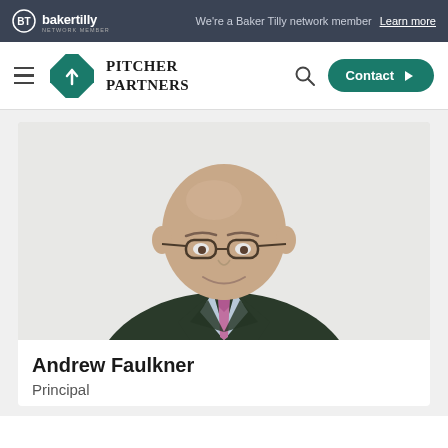[Figure (logo): Baker Tilly network member logo in top dark banner]
We're a Baker Tilly network member  Learn more
[Figure (logo): Pitcher Partners logo with teal diamond icon and serif wordmark]
[Figure (photo): Professional headshot of Andrew Faulkner, a bald man wearing glasses, dark suit jacket and pink/purple tie, smiling, against light background]
Andrew Faulkner
Principal